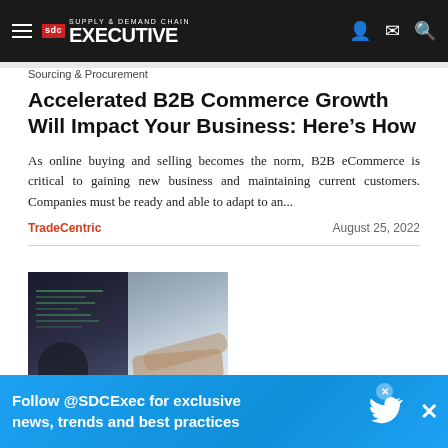Supply & Demand Chain Executive
Sourcing & Procurement
Accelerated B2B Commerce Growth Will Impact Your Business: Here’s How
As online buying and selling becomes the norm, B2B eCommerce is critical to gaining new business and maintaining current customers. Companies must be ready and able to adapt to an...
TradeCentric
August 25, 2022
[Figure (photo): Two-panel image showing computer screens and a person typing on a keyboard, related to B2B eCommerce theme]
Follow @SDCExec for exclusive news, trends and best practices